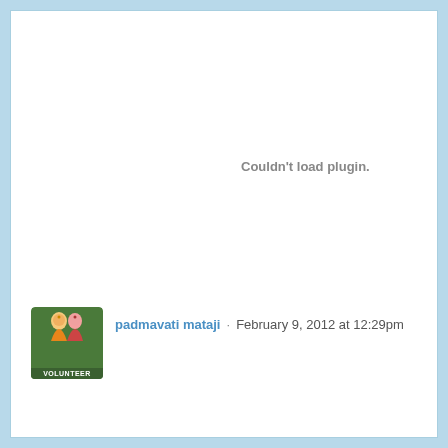[Figure (screenshot): Plugin error message area showing 'Couldn't load plugin.' text in gray on white background]
Couldn't load plugin.
[Figure (illustration): User avatar showing a green circular badge with two figures and a 'VOLUNTEER' label at the bottom]
padmavati mataji  ·  February 9, 2012 at 12:29pm